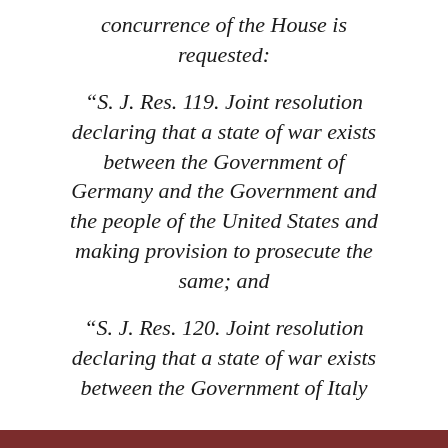concurrence of the House is requested:
“S. J. Res. 119. Joint resolution declaring that a state of war exists between the Government of Germany and the Government and the people of the United States and making provision to prosecute the same; and
“S. J. Res. 120. Joint resolution declaring that a state of war exists between the Government of Italy